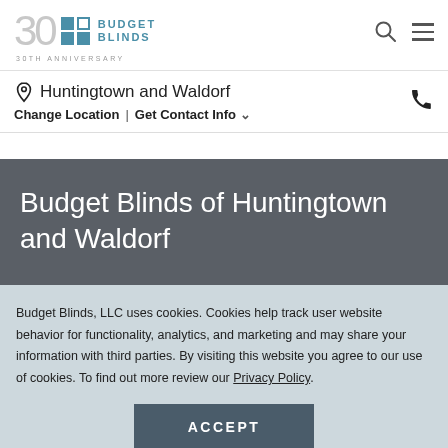Budget Blinds 30th Anniversary — Huntingtown and Waldorf
Huntingtown and Waldorf
Change Location | Get Contact Info
Budget Blinds of Huntingtown and Waldorf
Budget Blinds, LLC uses cookies. Cookies help track user website behavior for functionality, analytics, and marketing and may share your information with third parties. By visiting this website you agree to our use of cookies. To find out more review our Privacy Policy.
ACCEPT